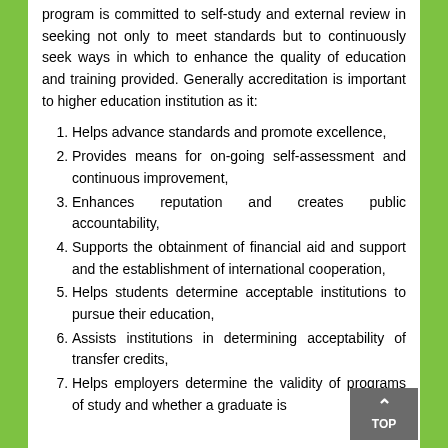program is committed to self-study and external review in seeking not only to meet standards but to continuously seek ways in which to enhance the quality of education and training provided. Generally accreditation is important to higher education institution as it:
Helps advance standards and promote excellence,
Provides means for on-going self-assessment and continuous improvement,
Enhances reputation and creates public accountability,
Supports the obtainment of financial aid and support and the establishment of international cooperation,
Helps students determine acceptable institutions to pursue their education,
Assists institutions in determining acceptability of transfer credits,
Helps employers determine the validity of programs of study and whether a graduate is